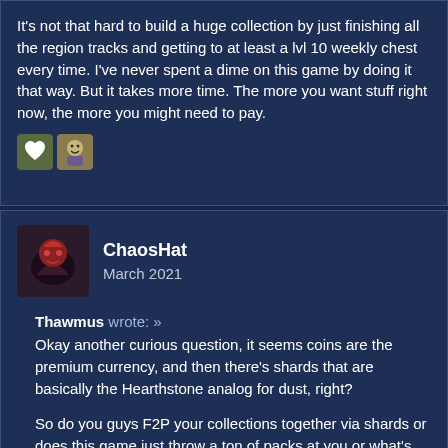It's not that hard to build a huge collection by just finishing all the region tracks and getting to at least a lvl 10 weekly chest every time. I've never spent a dime on this game by doing it that way. But it takes more time. The more you want stuff right now, the more you might need to pay.
[Figure (other): Two reaction/emoji icons - a heart and a character emoji]
ChaosHat
March 2021
Thawmus wrote: » Okay another curious question, it seems coins are the premium currency, and then there's shards that are basically the Hearthstone analog for dust, right?
So do you guys F2P your collections together via shards or does this game just throw a ton of packs at you or what's the basic F2P economic wisdom? Not afraid to spend money, but I also don't want to be dumb about it. I did grab the starter pack right away, as I do with most phone games.